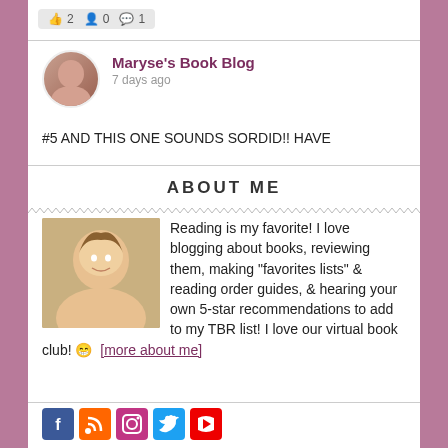[Figure (screenshot): Social media icons row showing thumbs up, share, and comment counts at top]
Maryse's Book Blog
7 days ago
#5 AND THIS ONE SOUNDS SORDID!! HAVE
ABOUT ME
Reading is my favorite! I love blogging about books, reviewing them, making "favorites lists" & reading order guides, & hearing your own 5-star recommendations to add to my TBR list! I love our virtual book club! 😀 [more about me]
[Figure (photo): Photo of a smiling blonde woman]
[Figure (infographic): Social media icons: Facebook, RSS, Instagram, Twitter, YouTube]